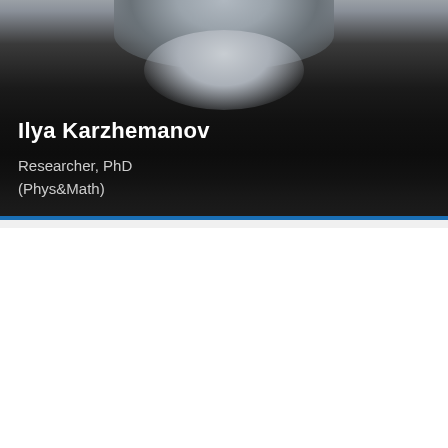[Figure (photo): Headshot photo of a man wearing a black shirt, with gray background, cropped at the neck/chin area]
Ilya Karzhemanov
Researcher, PhD
(Phys&Math)
[Figure (photo): Close-up headshot photo of a person with dark brown hair, with a bright highlight/light on the forehead area, dark background]